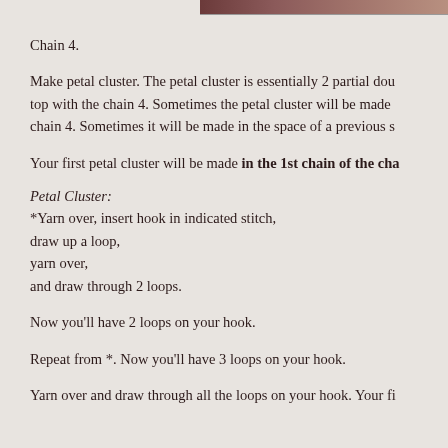[Figure (photo): Partial image strip at the top right of the page, appears to be a cropped photo with reddish-brown tones]
Chain 4.
Make petal cluster. The petal cluster is essentially 2 partial dou top with the chain 4. Sometimes the petal cluster will be made chain 4. Sometimes it will be made in the space of a previous s
Your first petal cluster will be made in the 1st chain of the cha
Petal Cluster:
*Yarn over, insert hook in indicated stitch,
draw up a loop,
yarn over,
and draw through 2 loops.
Now you'll have 2 loops on your hook.
Repeat from *. Now you'll have 3 loops on your hook.
Yarn over and draw through all the loops on your hook. Your fi